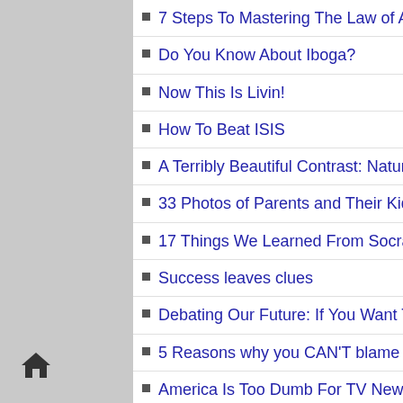7 Steps To Mastering The Law of Attraction In 2016
Do You Know About Iboga?
Now This Is Livin!
How To Beat ISIS
A Terribly Beautiful Contrast: Nature and War.
33 Photos of Parents and Their Kids… Got To Love Genetics!
17 Things We Learned From Socrates
Success leaves clues
Debating Our Future: If You Want To Change America, Change Yourself.
5 Reasons why you CAN'T blame the 49er's failure on Colin Kaepernick
America Is Too Dumb For TV News